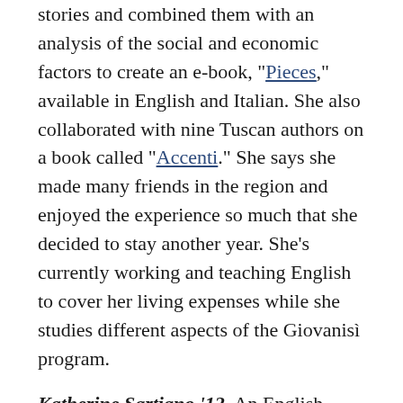stories and combined them with an analysis of the social and economic factors to create an e-book, "Pieces," available in English and Italian. She also collaborated with nine Tuscan authors on a book called “Accenti.” She says she made many friends in the region and enjoyed the experience so much that she decided to stay another year. She’s currently working and teaching English to cover her living expenses while she studies different aspects of the Giovanisì program.
Katherine Sartiano ’12. An English